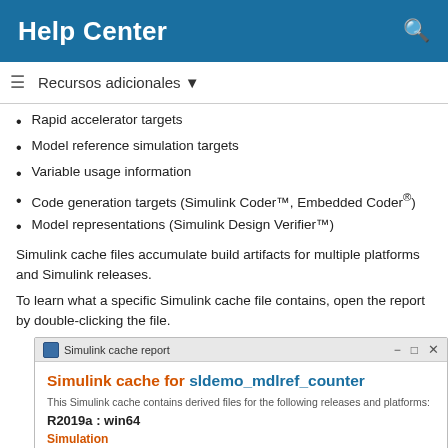Help Center
Recursos adicionales
Rapid accelerator targets
Model reference simulation targets
Variable usage information
Code generation targets (Simulink Coder™, Embedded Coder®)
Model representations (Simulink Design Verifier™)
Simulink cache files accumulate build artifacts for multiple platforms and Simulink releases.
To learn what a specific Simulink cache file contains, open the report by double-clicking the file.
[Figure (screenshot): Simulink cache report window showing 'Simulink cache for sldemo_mdlref_counter', with R2019a : win64 platform info, Simulation section, and Accelerator target bullet.]